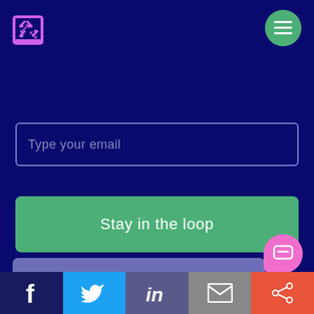[Figure (logo): Purple/pink grid-expand icon logo in top left]
[Figure (other): Green circular hamburger menu button in top right]
Type your email
Stay in the loop
We use cookies to ensure you have the best experience on our site, to analyse traffic, and enhance our marketing activities.
Cookie Settings
Accept All
[Figure (other): Pink chat bubble button bottom right]
[Figure (other): Social media bar: Facebook (dark blue), Twitter (blue), LinkedIn (muted blue), Email (grey), Share (orange-red)]